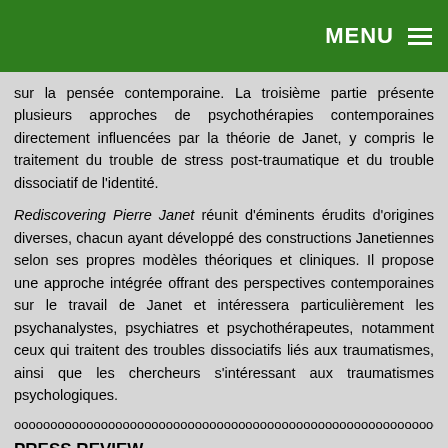MENU ☰
sur la pensée contemporaine. La troisième partie présente plusieurs approches de psychothérapies contemporaines directement influencées par la théorie de Janet, y compris le traitement du trouble de stress post-traumatique et du trouble dissociatif de l'identité.
Rediscovering Pierre Janet réunit d'éminents érudits d'origines diverses, chacun ayant développé des constructions Janetiennes selon ses propres modèles théoriques et cliniques. Il propose une approche intégrée offrant des perspectives contemporaines sur le travail de Janet et intéressera particulièrement les psychanalystes, psychiatres et psychothérapeutes, notamment ceux qui traitent des troubles dissociatifs liés aux traumatismes, ainsi que les chercheurs s'intéressant aux traumatismes psychologiques.
oooooooooooooooooooooooooooooooooooooooooooooooooooo
PRESS REVIEW